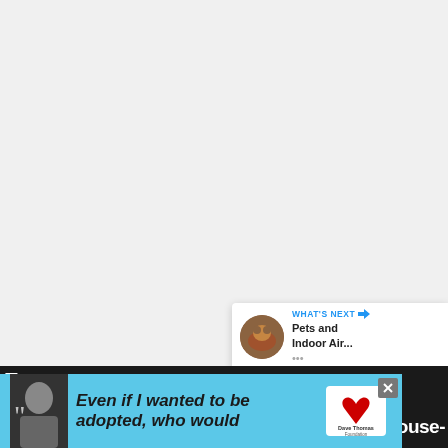[Figure (photo): Large light gray image area occupying the top portion of the page (content not visible/blank)]
[Figure (illustration): Blue circular like/heart button with count of 2, and white circular share button with share icon, positioned on the right side]
[Figure (screenshot): What's Next panel showing a thumbnail of a dog and text 'Pets and Indoor Air...' with blue arrow label 'WHAT'S NEXT']
[Figure (screenshot): Advertisement banner: cyan/teal background with photo of woman, large italic quote text 'Even if I wanted to be adopted, who would', Dave Thomas Foundation for Adoption logo, and close button]
E... house-
e... ouse-